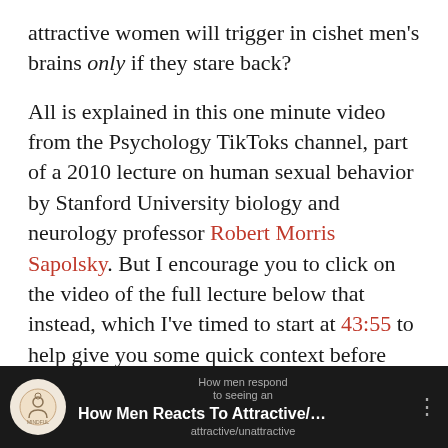attractive women will trigger in cishet men's brains only if they stare back?
All is explained in this one minute video from the Psychology TikToks channel, part of a 2010 lecture on human sexual behavior by Stanford University biology and neurology professor Robert Morris Sapolsky. But I encourage you to click on the video of the full lecture below that instead, which I've timed to start at 43:55 to help give you some quick context before that clip begins at 45:10:
[Figure (screenshot): YouTube video thumbnail with dark background showing 'How Men Reacts To Attractive/...' with a Mindful channel logo, subtitle text 'How men respond to seeing an attractive/unattractive' and three-dot menu icon]